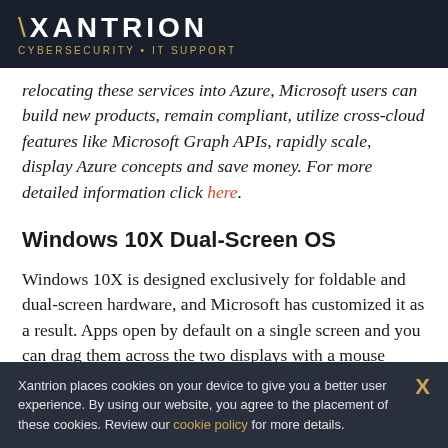XANTRION CYBERSECURITY · IT SUPPORT
relocating these services into Azure, Microsoft users can build new products, remain compliant, utilize cross-cloud features like Microsoft Graph APIs, rapidly scale, display Azure concepts and save money. For more detailed information click here.
Windows 10X Dual-Screen OS
Windows 10X is designed exclusively for foldable and dual-screen hardware, and Microsoft has customized it as a result. Apps open by default on a single screen and you can drag them across the two displays with a mouse
Xantrion places cookies on your device to give you a better user experience. By using our website, you agree to the placement of these cookies. Review our cookie policy for more details.